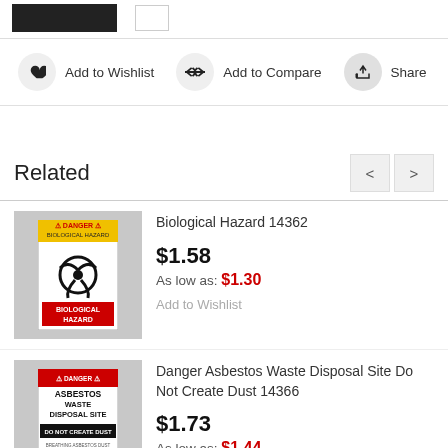[Figure (screenshot): Top bar with black product image rectangle and quantity box]
Add to Wishlist   Add to Compare   Share
Related
[Figure (photo): Biological Hazard DANGER sign product thumbnail]
Biological Hazard 14362
$1.58
As low as: $1.30
Add to Wishlist
[Figure (photo): Danger Asbestos Waste Disposal Site Do Not Create Dust sign thumbnail]
Danger Asbestos Waste Disposal Site Do Not Create Dust 14366
$1.73
As low as: $1.44
Add to Wishlist